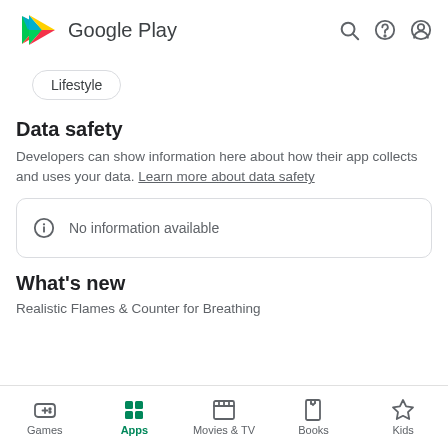[Figure (logo): Google Play logo with triangular play icon and Google Play text, with search, help, and account icons on the right]
Lifestyle
Data safety
Developers can show information here about how their app collects and uses your data. Learn more about data safety
No information available
What's new
Realistic Flames & Counter for Breathing
Games | Apps | Movies & TV | Books | Kids